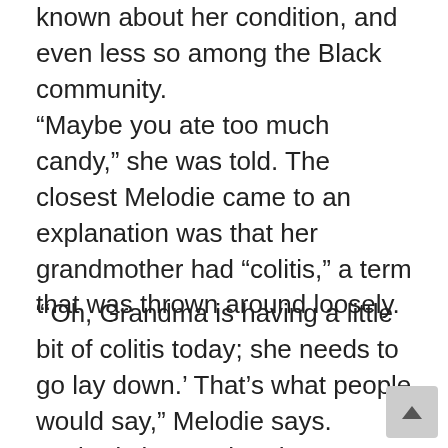known about her condition, and even less so among the Black community.
“Maybe you ate too much candy,” she was told. The closest Melodie came to an explanation was that her grandmother had “colitis,” a term that was thrown around loosely.
“‘Oh, Grandma is having a little bit of colitis today; she needs to go lay down.’ That’s what people would say,” Melodie says. “Nobody knew what that meant. My grandma didn’t even know what that meant. She just said it. So ginger ale and saltines, being medicine in the Black community, that’s what we had. This is how we